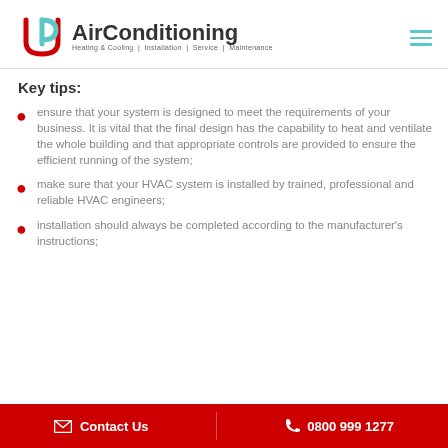[Figure (logo): UP AirConditioning logo with circular UP icon in red and teal, text 'AirConditioning' in dark, subtitle 'Heating & Cooling | Installation | Service | Maintenance']
Key tips:
ensure that your system is designed to meet the requirements of your business. It is vital that the final design has the capability to heat and ventilate the whole building and that appropriate controls are provided to ensure the efficient running of the system;
make sure that your HVAC system is installed by trained, professional and reliable HVAC engineers;
installation should always be completed according to the manufacturer's instructions;
Contact Us   0800 999 1277